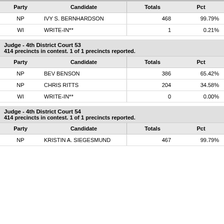| Party | Candidate | Totals | Pct |
| --- | --- | --- | --- |
| NP | IVY S. BERNHARDSON | 468 | 99.79% |
| WI | WRITE-IN** | 1 | 0.21% |
Judge - 4th District Court 53
414 precincts in contest. 1 of 1 precincts reported.
| Party | Candidate | Totals | Pct |
| --- | --- | --- | --- |
| NP | BEV BENSON | 386 | 65.42% |
| NP | CHRIS RITTS | 204 | 34.58% |
| WI | WRITE-IN** | 0 | 0.00% |
Judge - 4th District Court 54
414 precincts in contest. 1 of 1 precincts reported.
| Party | Candidate | Totals | Pct |
| --- | --- | --- | --- |
| NP | KRISTIN A. SIEGESMUND | 467 | 99.79% |